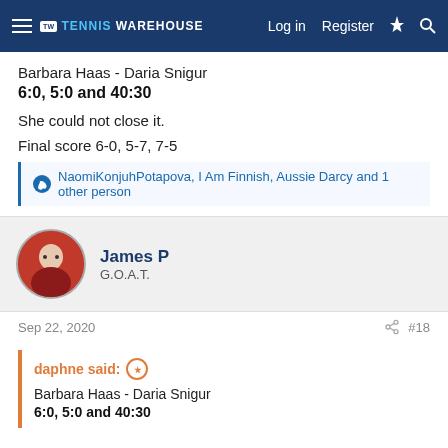Tennis Warehouse — Log in | Register
Barbara Haas - Daria Snigur
6:0, 5:0 and 40:30

She could not close it.

Final score 6-0, 5-7, 7-5
NaomiKonjuhPotapova, I Am Finnish, Aussie Darcy and 1 other person
James P
G.O.A.T.
Sep 22, 2020
#18
daphne said:
Barbara Haas - Daria Snigur
6:0, 5:0 and 40:30